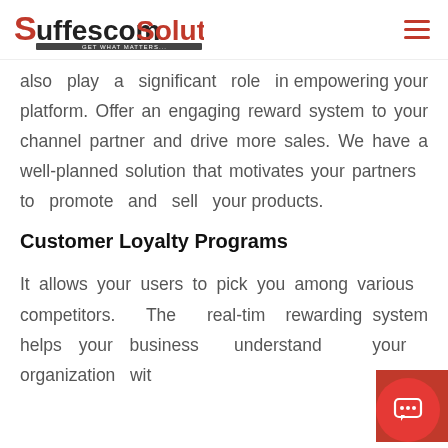Suffescom Solutions
also play a significant role in empowering your platform. Offer an engaging reward system to your channel partner and drive more sales. We have a well-planned solution that motivates your partners to promote and sell your products.
Customer Loyalty Programs
It allows your users to pick you among various competitors. The real-time rewarding system helps your businesses understand your organization with